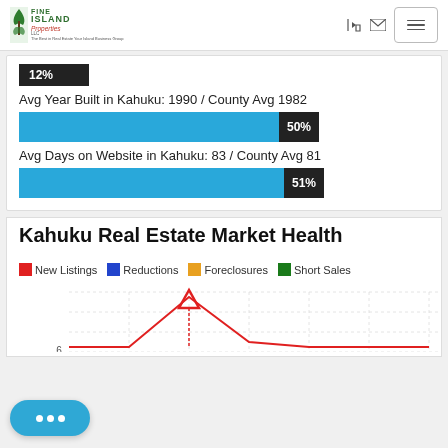[Figure (logo): Fine Island Properties LLC logo with green tree icon and text]
[Figure (infographic): 12% black label bar — partial statistics bar]
Avg Year Built in Kahuku: 1990 / County Avg 1982
[Figure (bar-chart): Avg Year Built percentage bar]
Avg Days on Website in Kahuku: 83 / County Avg 81
[Figure (bar-chart): Avg Days on Website percentage bar]
Kahuku Real Estate Market Health
[Figure (line-chart): Kahuku Real Estate Market Health chart showing New Listings (red), Reductions (blue), Foreclosures (orange), Short Sales (green). Y-axis shows value 6 visible. Red line peaks prominently.]